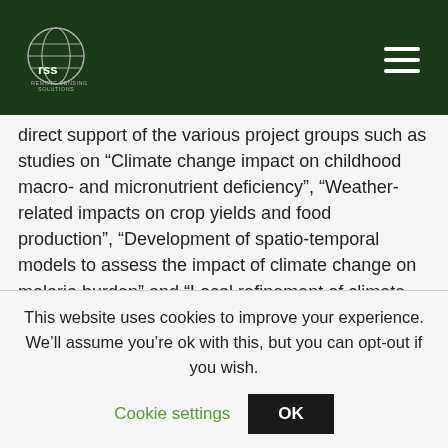RSS logo and navigation menu
direct support of the various project groups such as studies on “Climate change impact on childhood macro- and micronutrient deficiency”, “Weather-related impacts on crop yields and food production”, “Development of spatio-temporal models to assess the impact of climate change on malaria burden” and “Local refinement of climate variables and uncertainty quantification in the climate – Malaria modeling chain”.
This website uses cookies to improve your experience. We’ll assume you’re ok with this, but you can opt-out if you wish.
Cookie settings    OK